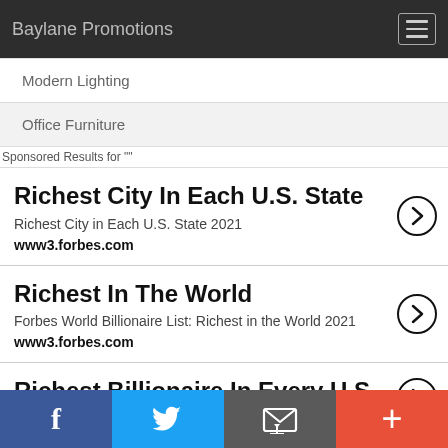Baylane Promotions
Modern Lighting
Office Furniture
Sponsored Results for ""
Richest City In Each U.S. State
Richest City in Each U.S. State 2021
www3.forbes.com
Richest In The World
Forbes World Billionaire List: Richest in the World 2021
www3.forbes.com
Richest Billionaire In Every U.S. State
f  Twitter  Email  +